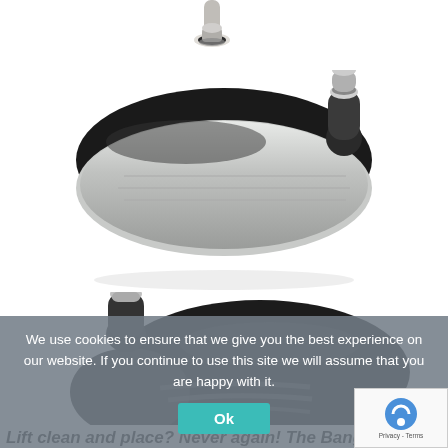[Figure (photo): Three golf club heads/drivers shown from different angles on white background: top partial grip/shaft, middle club head face-forward (silver face visible), bottom club head showing top view (black with grooves)]
We use cookies to ensure that we give you the best experience on our website. If you continue to use this site we will assume that you are happy with it.
Ok
Lift clean and place? Never again! The Bang O